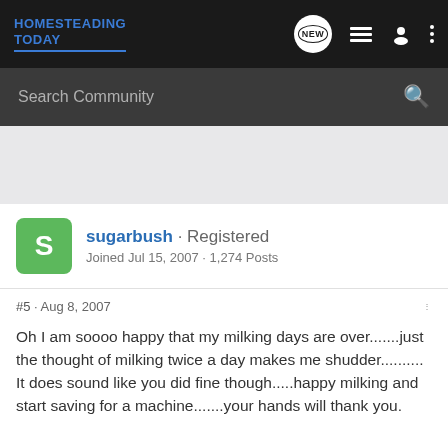HOMESTEADING TODAY
Search Community
[Figure (screenshot): Gray advertisement/spacer area]
sugarbush · Registered
Joined Jul 15, 2007 · 1,274 Posts
#5 · Aug 8, 2007
Oh I am soooo happy that my milking days are over.......just the thought of milking twice a day makes me shudder..........
It does sound like you did fine though.....happy milking and start saving for a machine.......your hands will thank you.